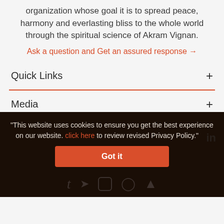organization whose goal it is to spread peace, harmony and everlasting bliss to the whole world through the spiritual science of Akram Vignan.
Ask a question and Get an assured response →
Quick Links +
Media +
Other Websites +
FOLLOW US
"This website uses cookies to ensure you get the best experience on our website. click here to review revised Privacy Policy."
Got it